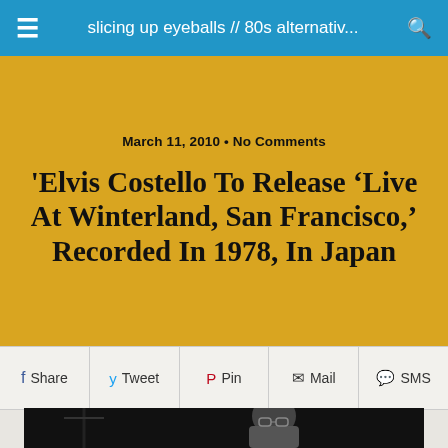slicing up eyeballs // 80s alternativ...
March 11, 2010 • No Comments
Elvis Costello To Release 'Live At Winterland, San Francisco,' Recorded In 1978, In Japan
Share  Tweet  Pin  Mail  SMS
[Figure (photo): Black and white photograph of Elvis Costello wearing glasses, a suit and tie, standing at a microphone on stage]